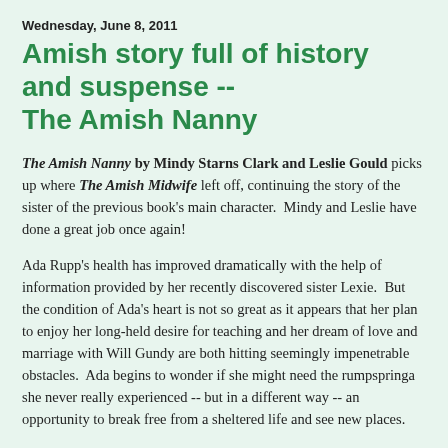Wednesday, June 8, 2011
Amish story full of history and suspense -- The Amish Nanny
The Amish Nanny by Mindy Starns Clark and Leslie Gould picks up where The Amish Midwife left off, continuing the story of the sister of the previous book's main character.  Mindy and Leslie have done a great job once again!
Ada Rupp's health has improved dramatically with the help of information provided by her recently discovered sister Lexie.  But the condition of Ada's heart is not so great as it appears that her plan to enjoy her long-held desire for teaching and her dream of love and marriage with Will Gundy are both hitting seemingly impenetrable obstacles.  Ada begins to wonder if she might need the rumpspringa she never really experienced -- but in a different way -- an opportunity to break free from a sheltered life and see new places.
The chance for adventure comes when Ada, Alice, and Christy are called upon to make a trip to Switzerland to handle some family